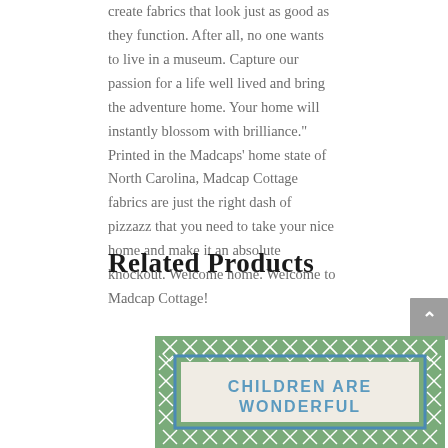create fabrics that look just as good as they function. After all, no one wants to live in a museum. Capture our passion for a life well lived and bring the adventure home. Your home will instantly blossom with brilliance." Printed in the Madcaps' home state of North Carolina, Madcap Cottage fabrics are just the right dash of pizzazz that you need to take your nice home and make it an absolute knockout. Welcome home. Welcome to Madcap Cottage!
Related Products
[Figure (photo): A decorative needlepoint or rug product with a green and white geometric diamond/quatrefoil border pattern and a blue inner border frame. Text reads 'CHILDREN ARE WONDERFUL' in blue lettering on a light background.]